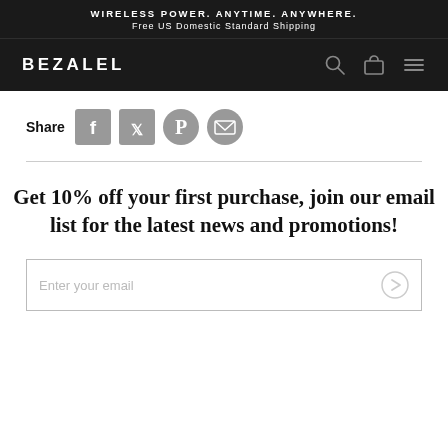WIRELESS POWER. ANYTIME. ANYWHERE.
Free US Domestic Standard Shipping
[Figure (logo): BEZALEL logo in white on dark background with search, cart, and menu icons]
Share
[Figure (infographic): Social share icons: Facebook, Twitter, Pinterest, Email]
Get 10% off your first purchase, join our email list for the latest news and promotions!
Enter your email